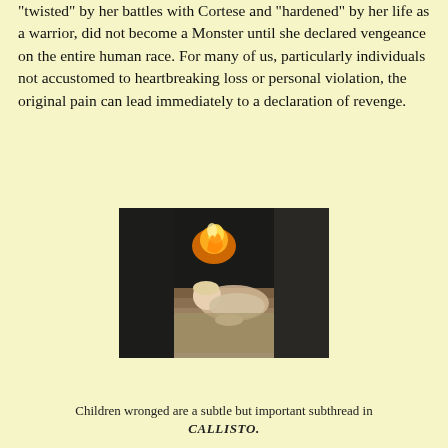"twisted" by her battles with Cortese and "hardened" by her life as a warrior, did not become a Monster until she declared vengeance on the entire human race. For many of us, particularly individuals not accustomed to heartbreaking loss or personal violation, the original pain can lead immediately to a declaration of revenge.
[Figure (photo): A child lying on the ground with fire visible in the background, surrounded by dark-clothed figures]
Children wronged are a subtle but important subthread in CALLISTO.